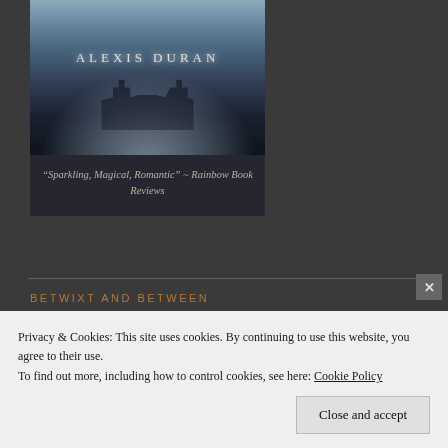[Figure (illustration): Dark fantasy book cover by Alexis Duran showing a misty castle/gothic scene with atmospheric blue-grey fog. Author name 'ALEXIS DURAN' written in spaced lettering. Below the image is a quote: "Sparkling, Magical, Romantic" ~ Rainbow Book Reviews]
“Sparkling, Magical, Romantic” ~ Rainbow Book Reviews
BETWIXT AND BETWEEN
[Figure (illustration): Book cover for 'Betwixt and Between' showing a young man with grey/silver hair against a Seattle cityscape with Space Needle at night. Text overlay reads 'Betwixt and Between'.]
Privacy & Cookies: This site uses cookies. By continuing to use this website, you agree to their use.
To find out more, including how to control cookies, see here: Cookie Policy